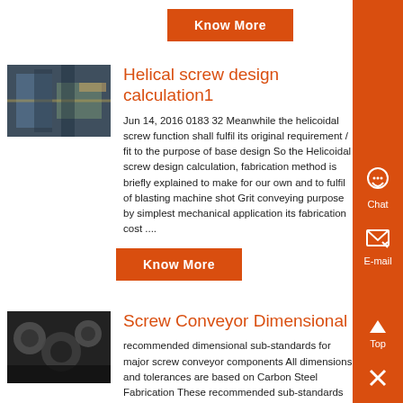[Figure (other): Orange 'Know More' button at top of page]
[Figure (photo): Industrial conveyor/machinery equipment photo]
Helical screw design calculation1
Jun 14, 2016 0183 32 Meanwhile the helicoidal screw function shall fulfil its original requirement / fit to the purpose of base design So the Helicoidal screw design calculation, fabrication method is briefly explained to make for our own and to fulfil of blasting machine shot Grit conveying purpose by simplest mechanical application its fabrication cost ....
[Figure (other): Orange 'Know More' button]
[Figure (photo): Dark metal screw/conveyor components photo]
Screw Conveyor Dimensional
recommended dimensional sub-standards for major screw conveyor components All dimensions and tolerances are based on Carbon Steel Fabrication These recommended sub-standards are issued in conjunction with CEMA Standard No 350 Screw Conveyors Screw Conveyors is a
[Figure (other): Right side orange bar with Chat, E-mail, Top, and Close icons]